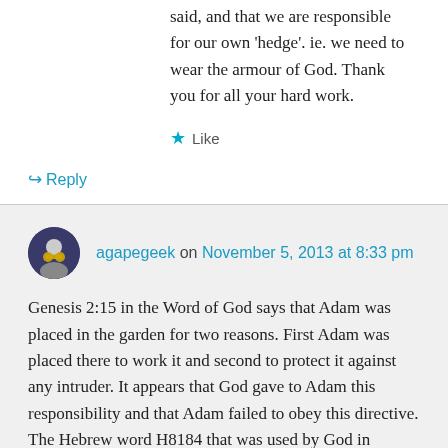said, and that we are responsible for our own 'hedge'. ie. we need to wear the armour of God. Thank you for all your hard work.
Like
Reply
agapegeek on November 5, 2013 at 8:33 pm
Genesis 2:15 in the Word of God says that Adam was placed in the garden for two reasons. First Adam was placed there to work it and second to protect it against any intruder. It appears that God gave to Adam this responsibility and that Adam failed to obey this directive. The Hebrew word H8184 that was used by God in Genesis